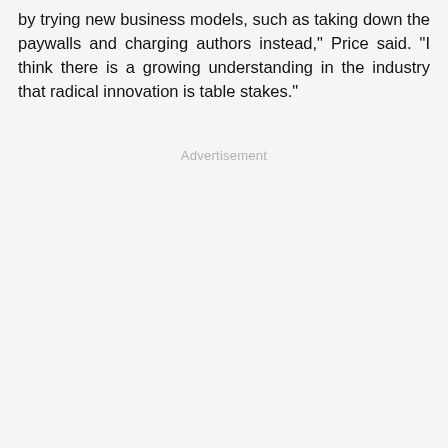by trying new business models, such as taking down the paywalls and charging authors instead," Price said. "I think there is a growing understanding in the industry that radical innovation is table stakes."
Advertisement